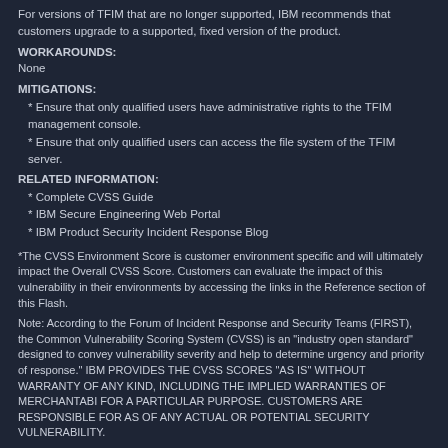For versions of TFIM that are no longer supported, IBM recommends that customers upgrade to a supported, fixed version of the product.
WORKAROUNDS:
None
MITIGATIONS:
* Ensure that only qualified users have administrative rights to the TFIM management console.
* Ensure that only qualified users can access the file system of the TFIM server.
RELATED INFORMATION:
* Complete CVSS Guide
* IBM Secure Engineering Web Portal
* IBM Product Security Incident Response Blog
*The CVSS Environment Score is customer environment specific and will ultimately impact the Overall CVSS Score. Customers can evaluate the impact of this vulnerability in their environments by accessing the links in the Reference section of this Flash.
Note: According to the Forum of Incident Response and Security Teams (FIRST), the Common Vulnerability Scoring System (CVSS) is an "industry open standard" designed to convey vulnerability severity and help to determine urgency and priority of response." IBM PROVIDES THE CVSS SCORES "AS IS" WITHOUT WARRANTY OF ANY KIND, INCLUDING THE IMPLIED WARRANTIES OF MERCHANTABILITY FOR A PARTICULAR PURPOSE. CUSTOMERS ARE RESPONSIBLE FOR ASSESSING OF ANY ACTUAL OR POTENTIAL SECURITY VULNERABILITY.